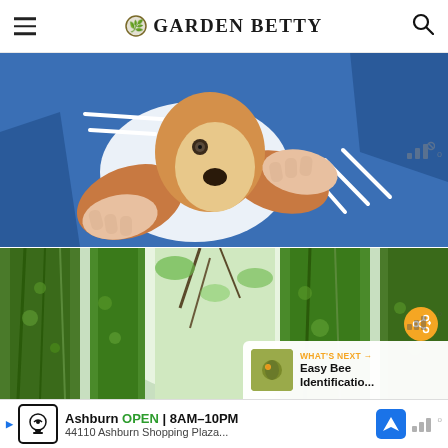Garden Betty
[Figure (photo): A basset hound with its long ears being held out by human hands, on a blue decorative background with white speed lines]
[Figure (photo): Upward view of large moss-covered tree trunks against bright sky]
WHAT'S NEXT → Easy Bee Identificatio...
[Figure (photo): Small thumbnail image of a bee on a flower for 'What's Next' preview]
Ashburn OPEN 8AM–10PM 44110 Ashburn Shopping Plaza...